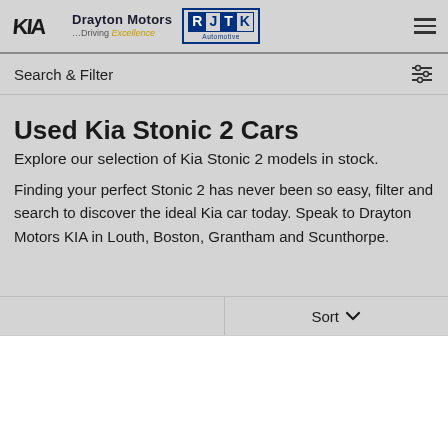Drayton Motors ...Driving Excellence | RJTK Automotive
Search & Filter
Used Kia Stonic 2 Cars
Explore our selection of Kia Stonic 2 models in stock.
Finding your perfect Stonic 2 has never been so easy, filter and search to discover the ideal Kia car today. Speak to Drayton Motors KIA in Louth, Boston, Grantham and Scunthorpe.
Sort